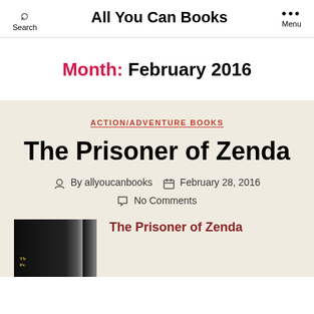Search   All You Can Books   Menu
Month: February 2016
ACTION/ADVENTURE BOOKS
The Prisoner of Zenda
By allyoucanbooks   February 28, 2016
No Comments
[Figure (photo): Book cover of The Prisoner of Zenda]
The Prisoner of Zenda